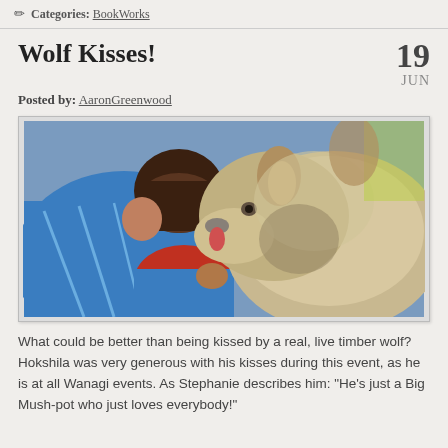Categories: BookWorks
Wolf Kisses!
19 JUN
Posted by: AaronGreenwood
[Figure (photo): A child in a blue shirt being licked/kissed on the face by a large timber wolf (gray and tan fluffy wolf), indoors.]
What could be better than being kissed by a real, live timber wolf?  Hokshila was very generous with his kisses during this event, as he is at all Wanagi events.  As Stephanie describes him:  "He’s just a Big Mush-pot who  just loves everybody!"